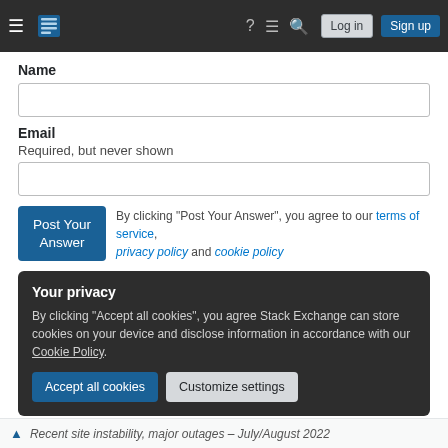[Figure (screenshot): Stack Exchange navigation bar with hamburger menu, logo, help icon, chat icon, search icon, Log in button, and Sign up button]
Name
[Figure (screenshot): Empty text input field for Name]
Email
Required, but never shown
[Figure (screenshot): Empty text input field for Email]
By clicking "Post Your Answer", you agree to our terms of service, privacy policy and cookie policy
Your privacy
By clicking "Accept all cookies", you agree Stack Exchange can store cookies on your device and disclose information in accordance with our Cookie Policy.
Recent site instability, major outages – July/August 2022